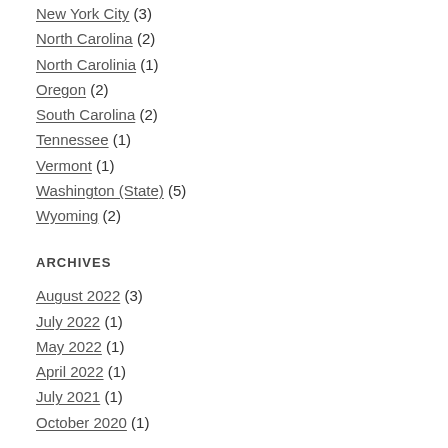New York City (3)
North Carolina (2)
North Carolinia (1)
Oregon (2)
South Carolina (2)
Tennessee (1)
Vermont (1)
Washington (State) (5)
Wyoming (2)
ARCHIVES
August 2022 (3)
July 2022 (1)
May 2022 (1)
April 2022 (1)
July 2021 (1)
October 2020 (1)